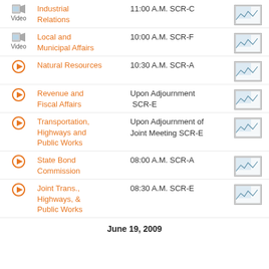Industrial Relations — 11:00 A.M. SCR-C
Local and Municipal Affairs — 10:00 A.M. SCR-F
Natural Resources — 10:30 A.M. SCR-A
Revenue and Fiscal Affairs — Upon Adjournment SCR-E
Transportation, Highways and Public Works — Upon Adjournment of Joint Meeting SCR-E
State Bond Commission — 08:00 A.M. SCR-A
Joint Trans., Highways, & Public Works — 08:30 A.M. SCR-E
June 19, 2009